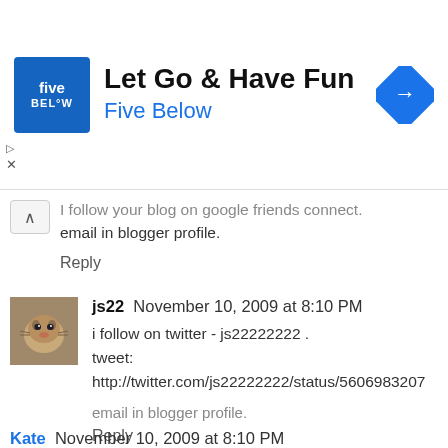[Figure (screenshot): Five Below advertisement banner: blue square logo with 'five BEL*W' text, headline 'Let Go & Have Fun', subtitle 'Five Below', blue diamond arrow icon on right]
I follow your blog on google friends connect. email in blogger profile.
Reply
js22 November 10, 2009 at 8:10 PM
i follow on twitter - js22222222 .
tweet:
http://twitter.com/js22222222/status/5606983207
email in blogger profile.
Reply
Kate November 10, 2009 at 8:10 PM